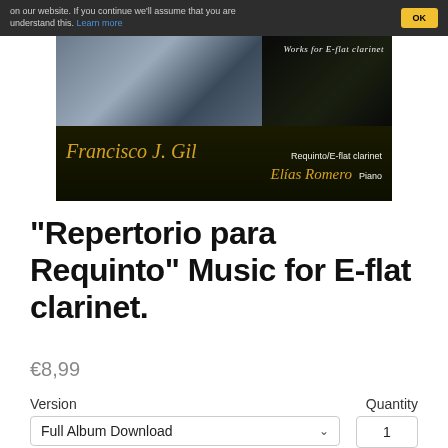on our website. If you continue we'll assume that you are understand this. Learn more
[Figure (photo): Album cover for 'Works for E-flat clarinet' featuring Francisco J. Gil on Requinto/E-flat clarinet and Elías Romero on Piano. Dark background with musician photo and text in gold and white.]
"Repertorio para Requinto" Music for E-flat clarinet.
€8,99
Version
Quantity
Full Album Download
1